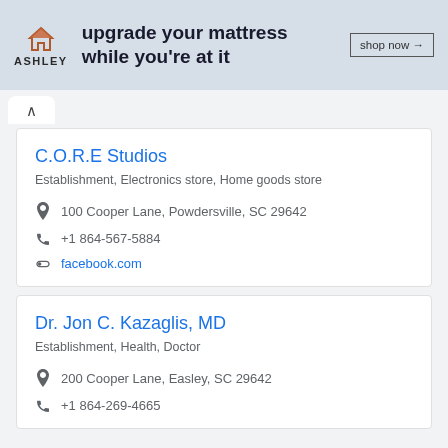[Figure (illustration): Ashley furniture advertisement banner showing logo with house icon and text 'upgrade your mattress while you're at it' with a 'shop now →' button]
C.O.R.E Studios
Establishment,  Electronics store,  Home goods store
100 Cooper Lane, Powdersville, SC 29642
+1 864-567-5884
facebook.com
Dr. Jon C. Kazaglis, MD
Establishment,  Health,  Doctor
200 Cooper Lane, Easley, SC 29642
+1 864-269-4665
Weather today in Piedmont